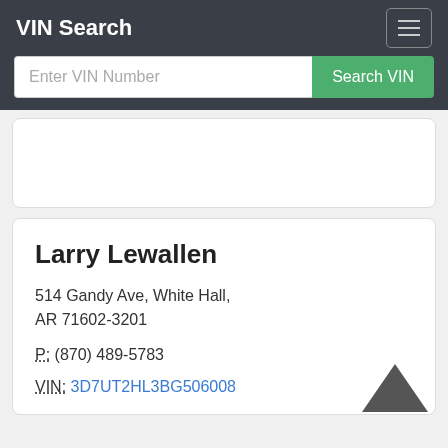VIN Search
Enter VIN Number
Search VIN
Larry Lewallen
514 Gandy Ave, White Hall, AR 71602-3201
P: (870) 489-5783
VIN: 3D7UT2HL3BG506008